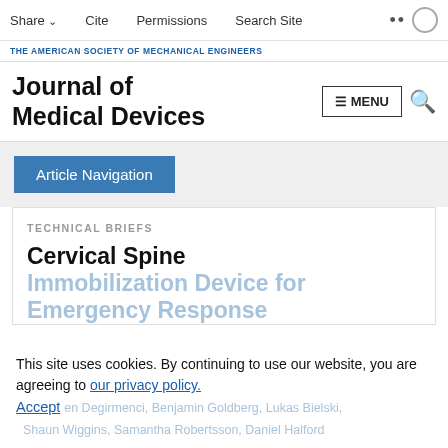Share  Cite  Permissions  Search Site
THE AMERICAN SOCIETY OF MECHANICAL ENGINEERS
Journal of Medical Devices
Article Navigation
TECHNICAL BRIEFS
Cervical Spine Immobilization Device for Emergency Response
This site uses cookies. By continuing to use our website, you are agreeing to our privacy policy. Accept